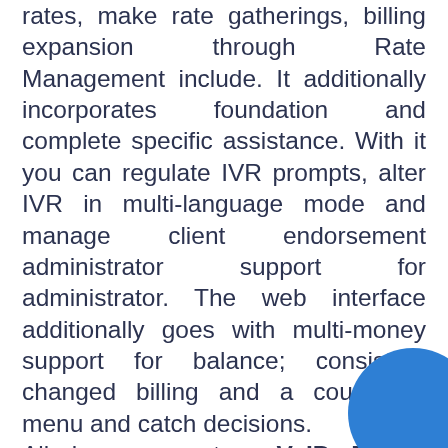rates, make rate gatherings, billing expansion through Rate Management include. It additionally incorporates foundation and complete specific assistance. With it you can regulate IVR prompts, alter IVR in multi-language mode and manage client endorsement administrator support for administrator. The web interface additionally goes with multi-money support for balance; consistent changed billing and a couple of menu and catch decisions.
All in one system VoIP Phone System licenses you to convey pervasive call quality while overseeing unobtrusive calling rates. This software goes with changed UI and features like call recording, conferencing, call move,
[Figure (illustration): A large blue circle with a small green dot in the upper right area, partially visible in the bottom-right corner of the page.]